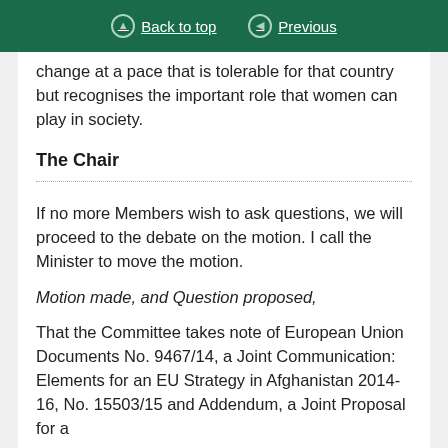Back to top | Previous
change at a pace that is tolerable for that country but recognises the important role that women can play in society.
The Chair
If no more Members wish to ask questions, we will proceed to the debate on the motion. I call the Minister to move the motion.
Motion made, and Question proposed,
That the Committee takes note of European Union Documents No. 9467/14, a Joint Communication: Elements for an EU Strategy in Afghanistan 2014-16, No. 15503/15 and Addendum, a Joint Proposal for a